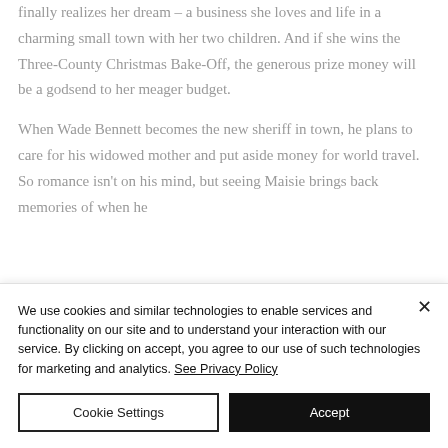finally realizes her dream – a business she loves and life in a charming small town with her two children. And if she wins the Three-County Christmas Bake-Off, the generous prize money will be a godsend to her meager budget.
When Wade Bennett becomes the new sheriff in town, he plans to care for his widowed mother and put aside money for world travel. So romance isn't on his mind, but seeing Maisie brings back memories of when he
We use cookies and similar technologies to enable services and functionality on our site and to understand your interaction with our service. By clicking on accept, you agree to our use of such technologies for marketing and analytics. See Privacy Policy